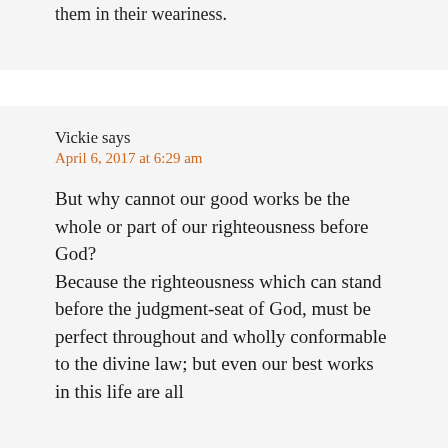them in their weariness.
Vickie says
April 6, 2017 at 6:29 am
But why cannot our good works be the whole or part of our righteousness before God?
Because the righteousness which can stand before the judgment-seat of God, must be perfect throughout and wholly conformable to the divine law; but even our best works in this life are all